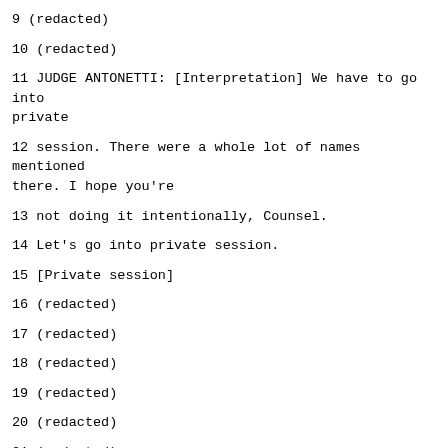9 (redacted)
10 (redacted)
11 JUDGE ANTONETTI: [Interpretation] We have to go into private
12 session. There were a whole lot of names mentioned there. I hope you're
13 not doing it intentionally, Counsel.
14 Let's go into private session.
15 [Private session]
16 (redacted)
17 (redacted)
18 (redacted)
19 (redacted)
20 (redacted)
21 (redacted)
22 (redacted)
23 (redacted)